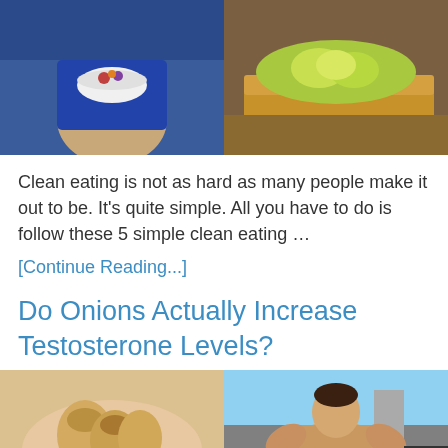[Figure (photo): Two photos side by side: left shows a person (cropped to torso) in a blue shirt holding a bowl of food; right shows avocado toast on a wooden board]
Clean eating is not as hard as many people make it out to be. It’s quite simple. All you have to do is follow these 5 simple clean eating …
[Continue Reading...]
Do Onions Actually Increase Testosterone Levels?
[Figure (photo): Two photos side by side: left shows small onions/shallots held in a hand; right shows a muscular shirtless man flexing biceps outdoors]